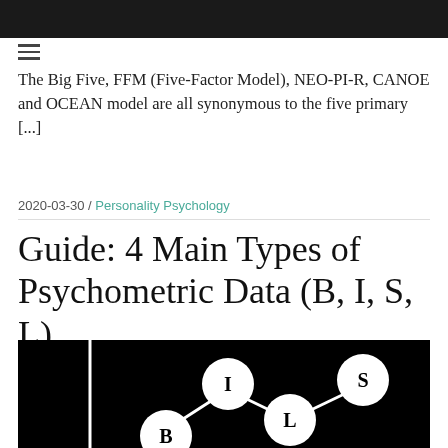The Big Five, FFM (Five-Factor Model), NEO-PI-R, CANOE and OCEAN model are all synonymous to the five primary [...]
2020-03-30 / Personality Psychology
Guide: 4 Main Types of Psychometric Data (B, I, S, L)
[Figure (illustration): Dark background diagram showing labeled circles B, I, L, S connected by lines, representing the 4 main types of psychometric data: Behaviour, Informant, Self-report, and Life outcomes.]